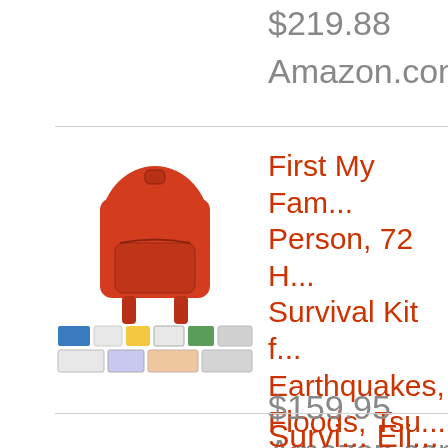$219.88
Amazon.com
[Figure (photo): Red backpack survival kit product photo showing a red backpack and various emergency supplies laid out in front of it]
First My Fam... Person, 72 H... Survival Kit f... Earthquakes, Floods, Tsu... Disasters - P... Backpack
$159.95
Amazon.com
Corals Eli...